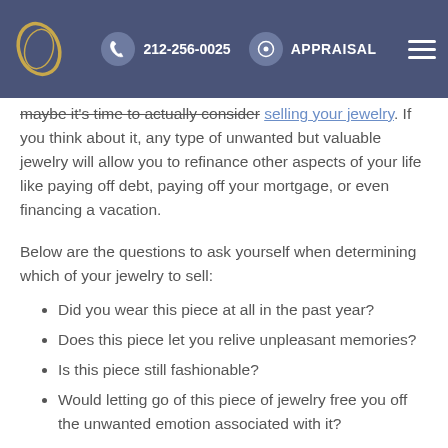212-256-0025  APPRAISAL
maybe it's time to actually consider selling your jewelry. If you think about it, any type of unwanted but valuable jewelry will allow you to refinance other aspects of your life like paying off debt, paying off your mortgage, or even financing a vacation.
Below are the questions to ask yourself when determining which of your jewelry to sell:
Did you wear this piece at all in the past year?
Does this piece let you relive unpleasant memories?
Is this piece still fashionable?
Would letting go of this piece of jewelry free you off the unwanted emotion associated with it?
Would selling this piece of jewelry pave the